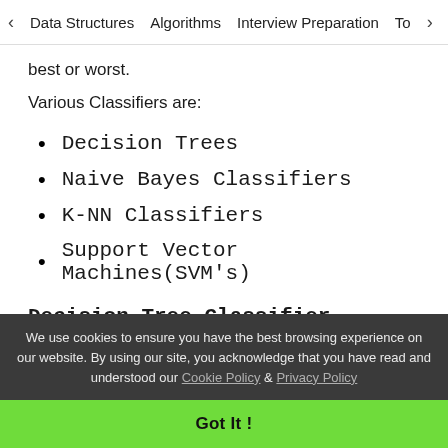< Data Structures   Algorithms   Interview Preparation   To>
best or worst.
Various Classifiers are:
Decision Trees
Naive Bayes Classifiers
K-NN Classifiers
Support Vector Machines(SVM's)
Decision Tree Classifier
We use cookies to ensure you have the best browsing experience on our website. By using our site, you acknowledge that you have read and understood our Cookie Policy & Privacy Policy
Got It !